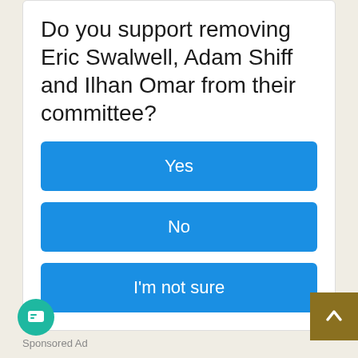Do you support removing Eric Swalwell, Adam Shiff and Ilhan Omar from their committee?
Yes
No
I'm not sure
Sponsored Ad
VISIT OUR CLASSIFIED ADS.
Check out our Classified ads at the bottom of this page
RECENT STORIES & COMMENTARY